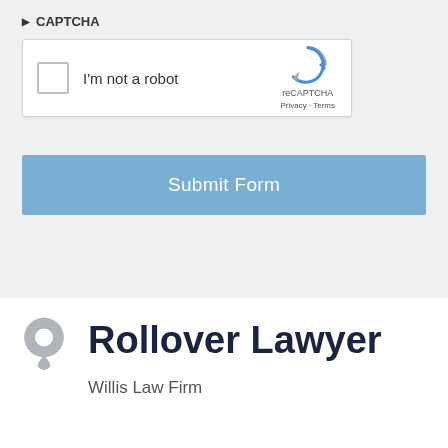CAPTCHA
[Figure (screenshot): reCAPTCHA widget with checkbox labeled I'm not a robot and reCAPTCHA branding with Privacy - Terms links]
Submit Form
Rollover Lawyer
Willis Law Firm